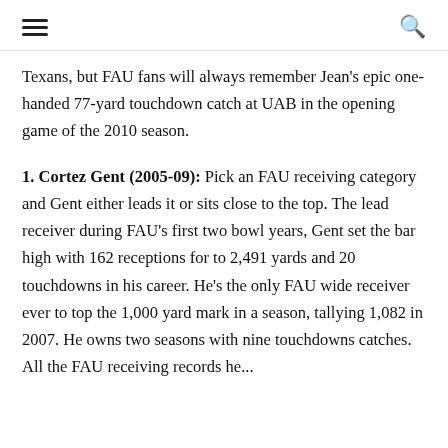≡  🔍
Texans, but FAU fans will always remember Jean's epic one-handed 77-yard touchdown catch at UAB in the opening game of the 2010 season.
1. Cortez Gent (2005-09): Pick an FAU receiving category and Gent either leads it or sits close to the top. The lead receiver during FAU's first two bowl years, Gent set the bar high with 162 receptions for to 2,491 yards and 20 touchdowns in his career. He's the only FAU wide receiver ever to top the 1,000 yard mark in a season, tallying 1,082 in 2007. He owns two seasons with nine touchdowns catches. All the FAU receiving records he...